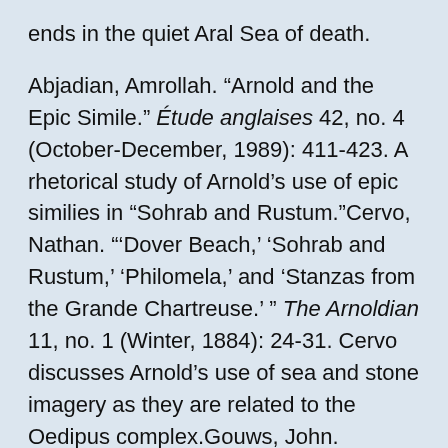ends in the quiet Aral Sea of death.
Abjadian, Amrollah. "Arnold and the Epic Simile." Étude anglaises 42, no. 4 (October-December, 1989): 411-423. A rhetorical study of Arnold's use of epic similies in "Sohrab and Rustum."Cervo, Nathan. "'Dover Beach,' 'Sohrab and Rustum,' 'Philomela,' and 'Stanzas from the Grande Chartreuse.' " The Arnoldian 11, no. 1 (Winter, 1884): 24-31. Cervo discusses Arnold's use of sea and stone imagery as they are related to the Oedipus complex.Gouws, John. "Matthew Arnold's 'Sohrab and Rustum.' " Notes and Queries 30 (August, 1983): 302. This note establishes Goethe as another author whom Matthew Arnold deeply admired. The way Arnold uses his sources demonstrates his